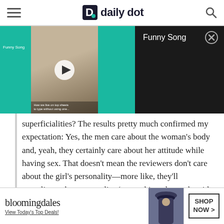daily dot
[Figure (screenshot): Video player showing 'Funny Song' with teal background, video thumbnail with play button, and dark info panel with close button]
superficialities? The results pretty much confirmed my expectation: Yes, the men care about the woman’s body and, yeah, they certainly care about her attitude while having sex. That doesn’t mean the reviewers don’t care about the girl’s personality—more like, they’ll compliment her personality (or anything else to do with her) IF the thing in question positively contributes to the guys’ sexual
[Figure (screenshot): Bloomingdale's advertisement banner with logo, 'View Today's Top Deals!' tagline, model photo, and 'SHOP NOW >' button]